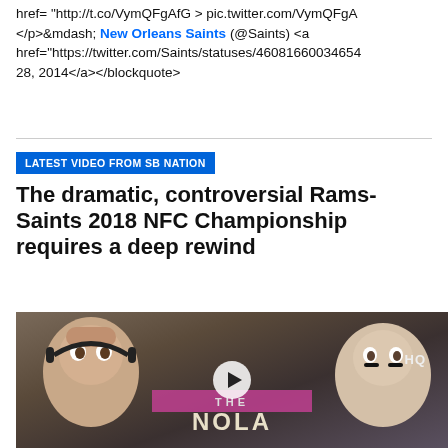href= http://t.co/VymQFgAfG > pic.twitter.com/VymQFgA </p>&mdash; New Orleans Saints (@Saints) <a href="https://twitter.com/Saints/statuses/46081660034654 28, 2014</a></blockquote>
LATEST VIDEO FROM SB NATION
The dramatic, controversial Rams-Saints 2018 NFC Championship requires a deep rewind
[Figure (photo): Video thumbnail showing two men's faces (sports commentators/players) with a pink banner and THE NOLA text overlay, with a play button in the center]